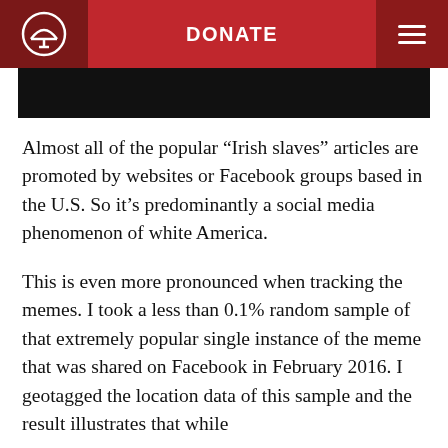DONATE
[Figure (other): Black banner/image bar below navigation]
Almost all of the popular “Irish slaves” articles are promoted by websites or Facebook groups based in the U.S. So it’s predominantly a social media phenomenon of white America.
This is even more pronounced when tracking the memes. I took a less than 0.1% random sample of that extremely popular single instance of the meme that was shared on Facebook in February 2016. I geotagged the location data of this sample and the result illustrates that while